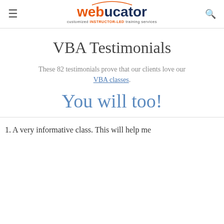webucator — customized INSTRUCTOR-LED training services
VBA Testimonials
These 82 testimonials prove that our clients love our VBA classes.
You will too!
1. A very informative class. This will help me